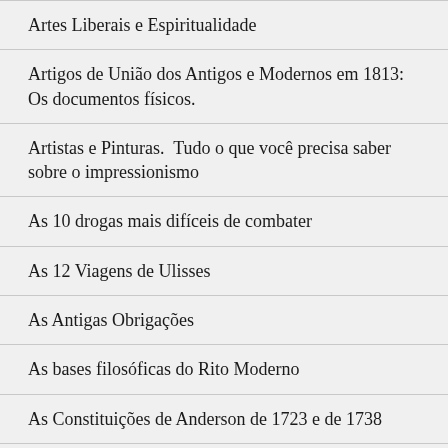Artes Liberais e Espiritualidade
Artigos de União dos Antigos e Modernos em 1813: Os documentos físicos.
Artistas e Pinturas.  Tudo o que você precisa saber sobre o impressionismo
As 10 drogas mais difíceis de combater
As 12 Viagens de Ulisses
As Antigas Obrigações
As bases filosóficas do Rito Moderno
As Constituições de Anderson de 1723 e de 1738
As Leis Universitárias e a Modernização do